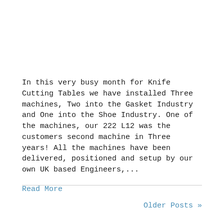In this very busy month for Knife Cutting Tables we have installed Three machines, Two into the Gasket Industry and One into the Shoe Industry. One of the machines, our 222 L12 was the customers second machine in Three years! All the machines have been delivered, positioned and setup by our own UK based Engineers,...
Read More
Older Posts »